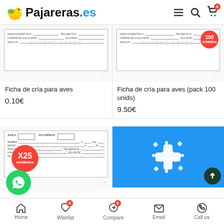Pajareras.es
[Figure (screenshot): Product listing for 'Ficha de cría para aves' at 0.10€ showing a breeding record card form]
Ficha de cría para aves
0.10€
[Figure (screenshot): Product listing for 'Ficha de cría para aves (pack 100 unids)' at 9.50€ with 'unidades' badge]
Ficha de cría para aves (pack 100 unids)
9.50€
[Figure (screenshot): Product listing showing breeding card form with X25 unidades badge]
[Figure (photo): White snowflake/asterisk shaped cotton nesting material on blue background]
Home  Wishlist  Compare  Email  Call us